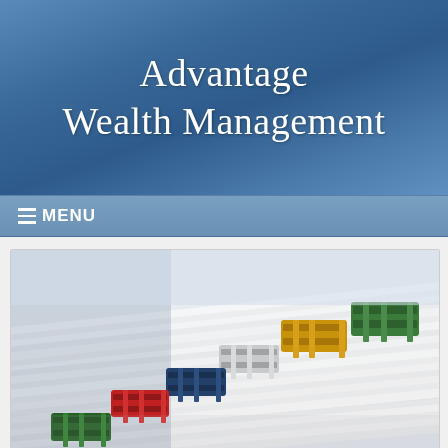Advantage Wealth Management
≡MENU
[Figure (photo): Stack of documents/papers held together with colorful binder clips (green, yellow, white, navy blue, red, green) on a light background]